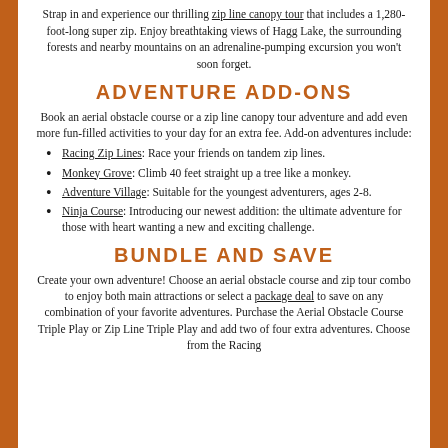Strap in and experience our thrilling zip line canopy tour that includes a 1,280-foot-long super zip. Enjoy breathtaking views of Hagg Lake, the surrounding forests and nearby mountains on an adrenaline-pumping excursion you won't soon forget.
ADVENTURE ADD-ONS
Book an aerial obstacle course or a zip line canopy tour adventure and add even more fun-filled activities to your day for an extra fee. Add-on adventures include:
Racing Zip Lines: Race your friends on tandem zip lines.
Monkey Grove: Climb 40 feet straight up a tree like a monkey.
Adventure Village: Suitable for the youngest adventurers, ages 2-8.
Ninja Course: Introducing our newest addition: the ultimate adventure for those with heart wanting a new and exciting challenge.
BUNDLE AND SAVE
Create your own adventure! Choose an aerial obstacle course and zip tour combo to enjoy both main attractions or select a package deal to save on any combination of your favorite adventures. Purchase the Aerial Obstacle Course Triple Play or Zip Line Triple Play and add two of four extra adventures. Choose from the Racing